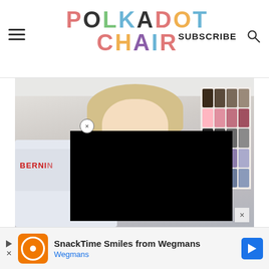POLKADOT CHAIR — SUBSCRIBE
[Figure (photo): A smiling blonde woman sitting behind a Bernina sewing machine in a craft room with thread spools on a rack in the background. A black overlay popup covers part of the lower image.]
[Figure (infographic): Advertisement banner: SnackTime Smiles from Wegmans — Wegmans logo and navigation arrow]
SnackTime Smiles from Wegmans
Wegmans